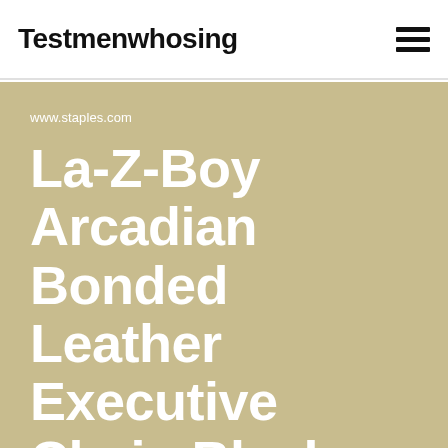Testmenwhosing
www.staples.com
La-Z-Boy Arcadian Bonded Leather Executive Chair, Black (60008) at Staples